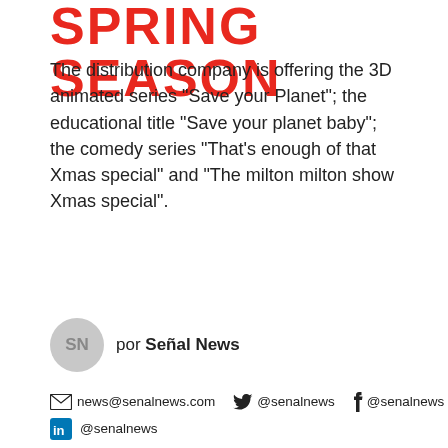SPRING SEASON
The distribution company is offering the 3D animated series “Save your Planet”; the educational title “Save your planet baby”; the comedy series “That’s enough of that Xmas special” and “The milton milton show Xmas special”.
por Señal News
news@senalnews.com   @senalnews   @senalnews
@senalnews
[Figure (photo): Two panels: left shows a 3D animated nighttime scene with cartoon bird characters and text 'save baby', right shows 3D animated underwater-style scene with cartoon sea creature characters and text referencing 'your planet'.]